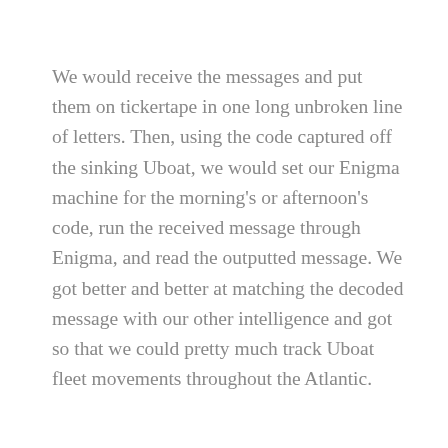We would receive the messages and put them on tickertape in one long unbroken line of letters. Then, using the code captured off the sinking Uboat, we would set our Enigma machine for the morning's or afternoon's code, run the received message through Enigma, and read the outputted message. We got better and better at matching the decoded message with our other intelligence and got so that we could pretty much track Uboat fleet movements throughout the Atlantic.